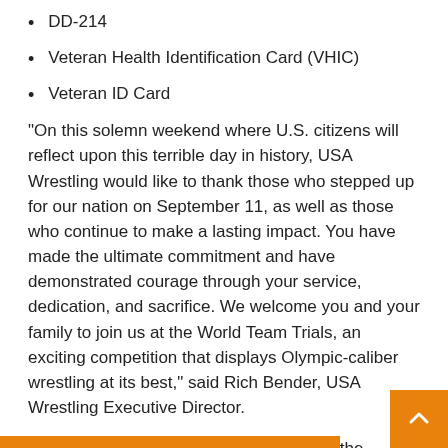DD-214
Veteran Health Identification Card (VHIC)
Veteran ID Card
“On this solemn weekend where U.S. citizens will reflect upon this terrible day in history, USA Wrestling would like to thank those who stepped up for our nation on September 11, as well as those who continue to make a lasting impact. You have made the ultimate commitment and have demonstrated courage through your service, dedication, and sacrifice. We welcome you and your family to join us at the World Team Trials, an exciting competition that displays Olympic-caliber wrestling at its best,” said Rich Bender, USA Wrestling Executive Director.
All spectators must wear a mask while at the Pinnacle Bank Arena, as required by the Lincoln-Lancaster County Health Department indoor mask mandate.
The Senior World Team Trials will determine the U.S. team that will compete in the 2021 Senior World Championships set for Oslo,